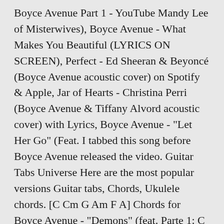Boyce Avenue Part 1 - YouTube Mandy Lee of Misterwives), Boyce Avenue - What Makes You Beautiful (LYRICS ON SCREEN), Perfect - Ed Sheeran & Beyoncé (Boyce Avenue acoustic cover) on Spotify & Apple, Jar of Hearts - Christina Perri (Boyce Avenue & Tiffany Alvord acoustic cover) with Lyrics, Boyce Avenue - "Let Her Go" (Feat. I tabbed this song before Boyce Avenue released the video. Guitar Tabs Universe Here are the most popular versions Guitar tabs, Chords, Ukulele chords. [C Cm G Am F A] Chords for Boyce Avenue - "Demons" (feat. Parte 1: C Oh her eyes, her eyes; Am7 Make the stars look like they're not shining. Boyce Avenue - Anchor. Tuning: Full ... All contents are subject to copyright, provided for